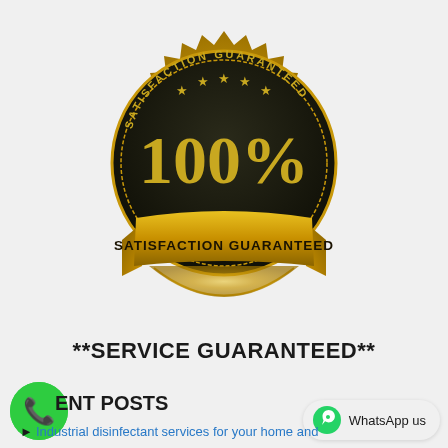[Figure (illustration): Gold and dark satisfaction guaranteed badge/seal with '100%' text in gold, stars, and 'SATISFACTION GUARANTEED' text on a ribbon banner]
**SERVICE GUARANTEED**
ENT POSTS
[Figure (illustration): Green circular phone/call icon button]
[Figure (illustration): WhatsApp logo icon with 'WhatsApp us' label in a rounded bubble]
Industrial disinfectant services for your home and